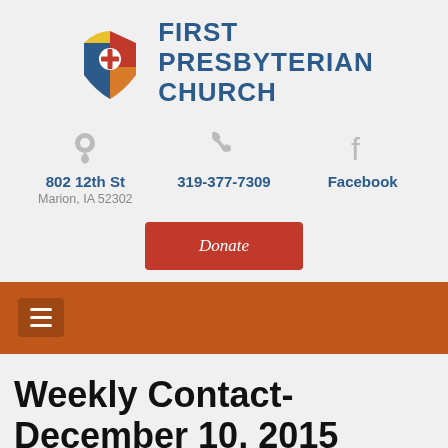[Figure (logo): First Presbyterian Church logo with colorful cross/shield icon and church name in blue bold text]
802 12th St
319-377-7309
Facebook
Marion, IA 52302
Donate
Weekly Contact- December 10, 2015